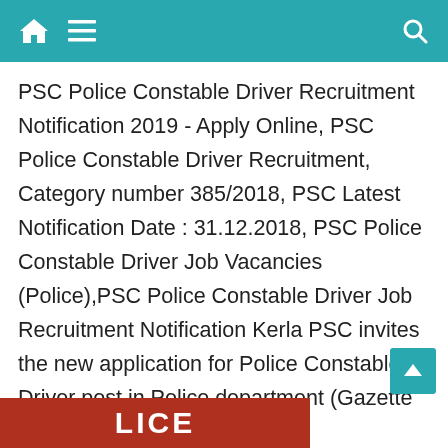Navigation bar with home, menu, and search icons
PSC Police Constable Driver Recruitment Notification 2019 - Apply Online, PSC Police Constable Driver Recruitment, Category number 385/2018, PSC Latest Notification Date : 31.12.2018, PSC Police Constable Driver Job Vacancies (Police),PSC Police Constable Driver Job Recruitment Notification Kerla PSC invites the new application for Police Constable Driver post in Police department (Gazette date : 31.12.2018). [...]
Continue Reading
[Figure (photo): Partial image of what appears to be a police-related banner or sign at the bottom of the page, showing the text 'LICE']